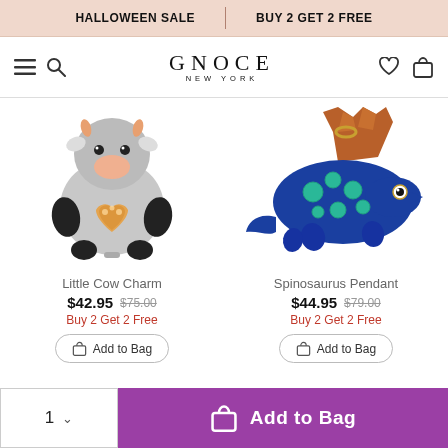HALLOWEEN SALE | BUY 2 GET 2 FREE
[Figure (logo): GNOCE NEW YORK logo with navigation icons]
[Figure (photo): Little Cow Charm jewelry piece - silver cow figure holding a glittery heart charm]
[Figure (photo): Spinosaurus Pendant - blue enamel dinosaur charm with gold accents]
Little Cow Charm
$42.95  $75.00
Buy 2 Get 2 Free
Add to Bag
Spinosaurus Pendant
$44.95  $79.00
Buy 2 Get 2 Free
Add to Bag
1  ∨  Add to Bag